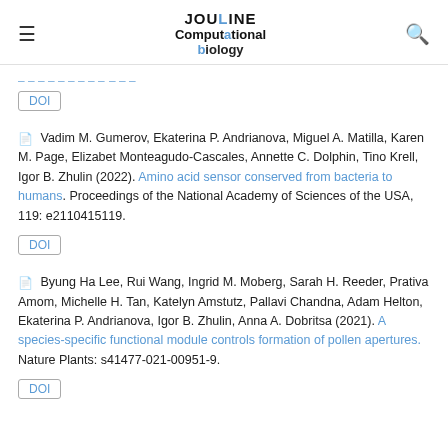JOULINE Computational biology
[truncated link text visible at top]
DOI
Vadim M. Gumerov, Ekaterina P. Andrianova, Miguel A. Matilla, Karen M. Page, Elizabet Monteagudo-Cascales, Annette C. Dolphin, Tino Krell, Igor B. Zhulin (2022). Amino acid sensor conserved from bacteria to humans. Proceedings of the National Academy of Sciences of the USA, 119: e2110415119.
DOI
Byung Ha Lee, Rui Wang, Ingrid M. Moberg, Sarah H. Reeder, Prativa Amom, Michelle H. Tan, Katelyn Amstutz, Pallavi Chandna, Adam Helton, Ekaterina P. Andrianova, Igor B. Zhulin, Anna A. Dobritsa (2021). A species-specific functional module controls formation of pollen apertures. Nature Plants: s41477-021-00951-9.
DOI